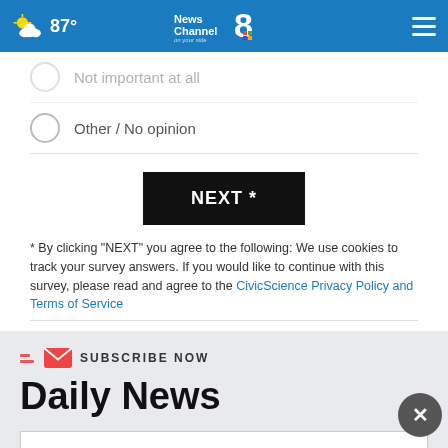News Channel 8 on your side — 87°
Not important at all
Other / No opinion
NEXT *
* By clicking "NEXT" you agree to the following: We use cookies to track your survey answers. If you would like to continue with this survey, please read and agree to the CivicScience Privacy Policy and Terms of Service
SUBSCRIBE NOW
Daily News
Your email
Listen to the new podcast about adoption.